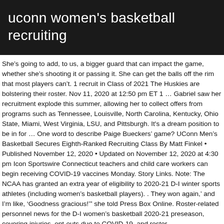uconn women's basketball recruiting
She’s going to add, to us, a bigger guard that can impact the game, whether she’s shooting it or passing it. She can get the balls off the rim that most players can’t. 1 recruit in Class of 2021 The Huskies are bolstering their roster. Nov 11, 2020 at 12:50 pm ET 1 … Gabriel saw her recruitment explode this summer, allowing her to collect offers from programs such as Tennessee, Louisville, North Carolina, Kentucky, Ohio State, Miami, West Virginia, LSU, and Pittsburgh. It's a dream position to be in for … One word to describe Paige Bueckers’ game? UConn Men’s Basketball Secures Eighth-Ranked Recruiting Class By Matt Finkel • Published November 12, 2020 • Updated on November 12, 2020 at 4:30 pm Icon Sportswire Connecticut teachers and child care workers can begin receiving COVID-19 vaccines Monday. Story Links. Note: The NCAA has granted an extra year of eligibility to 2020-21 D-I winter sports athletes (including women’s basketball players). . They won again,’ and I’m like, ‘Goodness gracious!’” she told Press Box Online. Roster-related personnel news for the D-I women’s basketball 2020-21 preseason, covering injuries, opt-outs due to COVID-19, and roster additions/subtractions. Home › commitments › 2020 Women’s Basketball Commitments. UConn lands commitment from No. ‘It’s … 1 to UConn’s